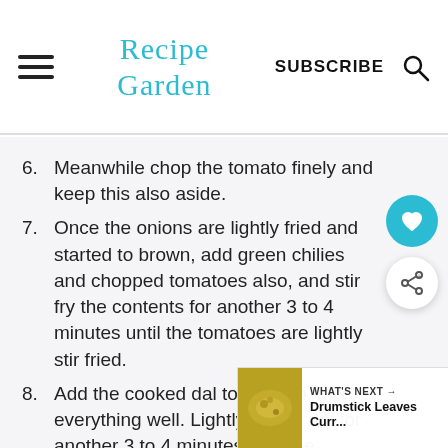Recipe Garden | SUBSCRIBE
6. Meanwhile chop the tomato finely and keep this also aside.
7. Once the onions are lightly fried and started to brown, add green chilies and chopped tomatoes also, and stir fry the contents for another 3 to 4 minutes until the tomatoes are lightly stir fried.
8. Add the cooked dal to the pan, mix everything well. Lightly fry the dal for another 3 to 4 minutes until the
[Figure (other): What's Next promotional overlay showing Drumstick Leaves Curr... with a food image thumbnail]